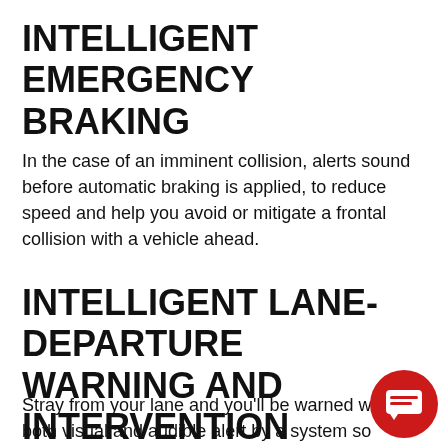INTELLIGENT EMERGENCY BRAKING
In the case of an imminent collision, alerts sound before automatic braking is applied, to reduce speed and help you avoid or mitigate a frontal collision with a vehicle ahead.
INTELLIGENT LANE-DEPARTURE WARNING AND INTERVENTION
Stray from your lane and you'll be warned with both visual and audible alert by a system so smart, it turns them off when you flick your indicator. If you...
[Figure (illustration): Red circular chat bubble icon in bottom-right corner]